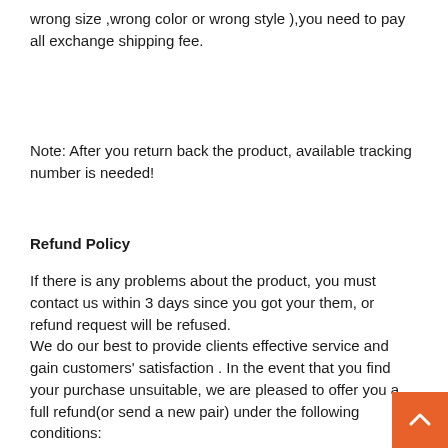wrong size ,wrong color or wrong style ),you need to pay all exchange shipping fee.
Note: After you return back the product, available tracking number is needed!
Refund Policy
If there is any problems about the product, you must contact us within 3 days since you got your them, or refund request will be refused.
We do our best to provide clients effective service and gain customers' satisfaction . In the event that you find your purchase unsuitable, we are pleased to offer you a full refund(or send a new pair) under the following conditions:
1.We have made some mistakes of sending the goods or the goods have some quality problems(not being damaged by any man-made factors),and you don't want to change a new pair